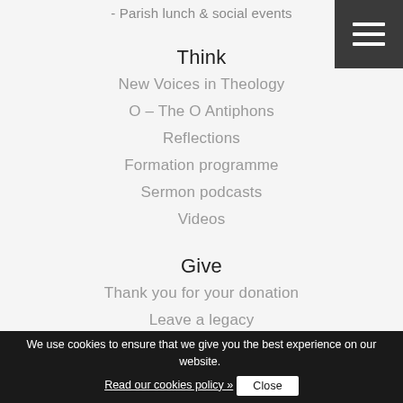- Parish lunch & social events
Think
New Voices in Theology
O – The O Antiphons
Reflections
Formation programme
Sermon podcasts
Videos
Give
Thank you for your donation
Leave a legacy
Pledged Giving
Make a donation online
News & Events
We use cookies to ensure that we give you the best experience on our website. Read our cookies policy »  Close